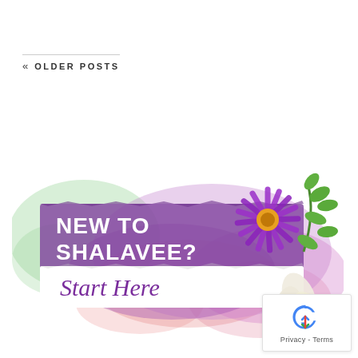« OLDER POSTS
[Figure (illustration): Decorative banner image with watercolor splashes in green, pink and purple. Contains a purple daisy flower with yellow center, green leaves, and white lily petals. Text overlay reads 'NEW TO SHALAVEE?' in white bold sans-serif, and 'Start Here' in purple cursive script on a white torn-paper strip.]
[Figure (logo): Google reCAPTCHA badge with blue recycling-arrow icon. Footer text reads 'Privacy - Terms'.]